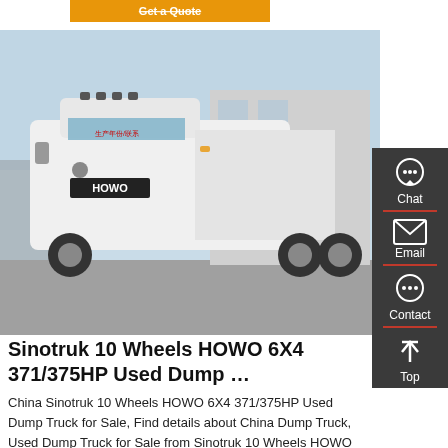[Figure (screenshot): Orange 'Get a Quote' button bar at the top of the page]
[Figure (photo): White Sinotruk HOWO 6x4 heavy truck parked outdoors at a facility, front-side view]
Sinotruk 10 Wheels HOWO 6X4 371/375HP Used Dump …
China Sinotruk 10 Wheels HOWO 6X4 371/375HP Used Dump Truck for Sale, Find details about China Dump Truck, Used Dump Truck for Sale from Sinotruk 10 Wheels HOWO
[Figure (infographic): Right sidebar with dark grey background containing Chat, Email, Contact, and Top navigation icons]